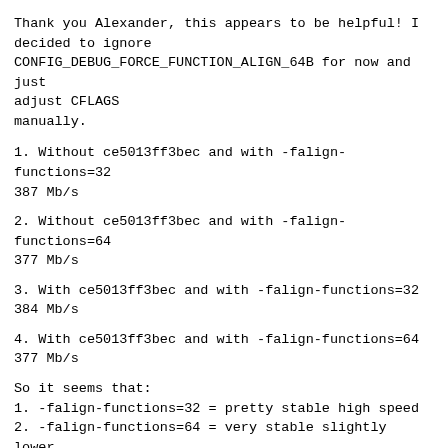Thank you Alexander, this appears to be helpful! I decided to ignore CONFIG_DEBUG_FORCE_FUNCTION_ALIGN_64B for now and just adjust CFLAGS manually.
1. Without ce5013ff3bec and with -falign-functions=32
387 Mb/s
2. Without ce5013ff3bec and with -falign-functions=64
377 Mb/s
3. With ce5013ff3bec and with -falign-functions=32
384 Mb/s
4. With ce5013ff3bec and with -falign-functions=64
377 Mb/s
So it seems that:
1. -falign-functions=32 = pretty stable high speed
2. -falign-functions=64 = very stable slightly lower speed
I'm going to perform tests on more commits but if it stays so reliable as above that will be a huge success for me.